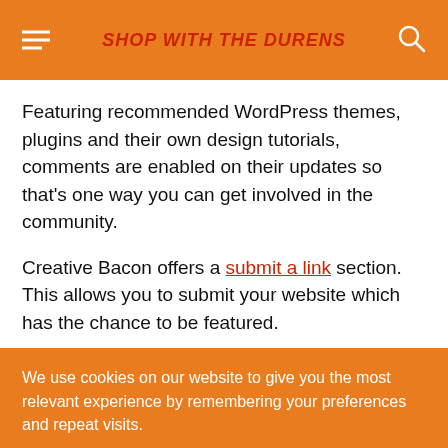SHOP WITH THE DURENS
Featuring recommended WordPress themes, plugins and their own design tutorials, comments are enabled on their updates so that's one way you can get involved in the community.
Creative Bacon offers a submit a link section. This allows you to submit your website which has the chance to be featured.
We use cookies on our website to give you the most relevant experience by remembering your preferences and repeat visits.
Cookie settings   ACCEPT